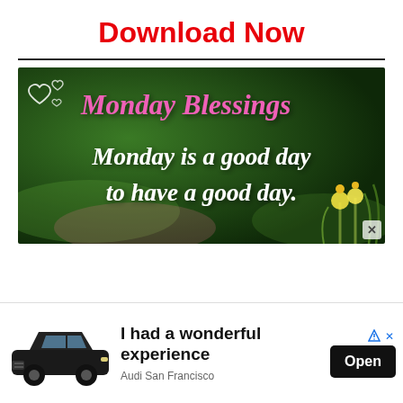Download Now
[Figure (illustration): Monday Blessings motivational image on dark green blurred background. Pink script text reads 'Monday Blessings' with small white heart outlines to the left. White italic text below reads 'Monday is a good day to have a good day.' Yellow daisy flowers visible in bottom right corner. Small X close button in bottom right.]
[Figure (infographic): Advertisement banner: black Audi SUV car on left, bold text 'I had a wonderful experience' in center, 'Audi San Francisco' subtitle, black 'Open' button on right, blue triangular ad icon top right.]